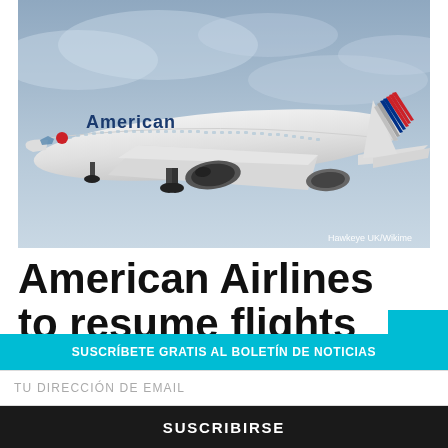[Figure (photo): American Airlines Boeing 787 aircraft in flight against a grey sky, with American Airlines livery including the eagle logo and red/blue/silver striped tail. Photo credit: Hawkeye UK/Wikime]
American Airlines to resume flights to New
SUSCRÍBETE GRATIS AL BOLETÍN DE NOTICIAS
TU DIRECCIÓN DE EMAIL
SUSCRIBIRSE